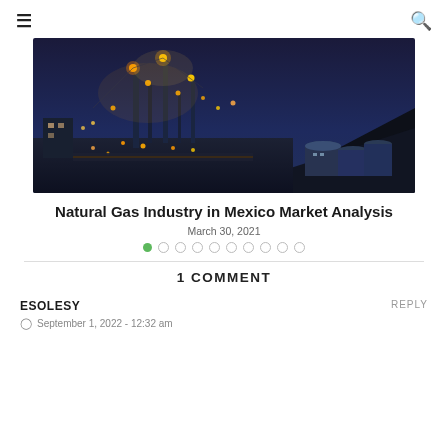≡  🔍
[Figure (photo): Aerial night view of a large industrial natural gas / petrochemical facility with bright yellow and orange lights, storage tanks, pipelines, and a dark hillside in the background.]
Natural Gas Industry in Mexico Market Analysis
March 30, 2021
● ○ ○ ○ ○ ○ ○ ○ ○ ○ (pagination dots, first active)
1 COMMENT
ESOLESY
REPLY
September 1, 2022 - 12:32 am